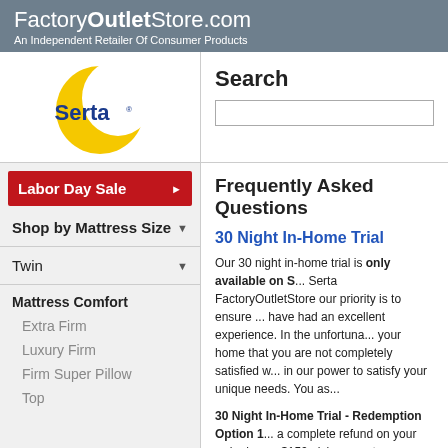FactoryOutletStore.com – An Independent Retailer Of Consumer Products
[Figure (logo): Serta logo: yellow crescent moon shape with blue Serta text]
Search
Labor Day Sale
Shop by Mattress Size
Twin
Mattress Comfort
Extra Firm
Luxury Firm
Firm Super Pillow Top
Frequently Asked Questions
30 Night In-Home Trial
Our 30 night in-home trial is only available on S... Serta FactoryOutletStore our priority is to ensure ... have had an excellent experience. In the unfortuna... your home that you are not completely satisfied w... in our power to satisfy your unique needs. You as...
30 Night In-Home Trial - Redemption Option 1: a complete refund on your order less a $150 pick... agent, a new delivery date, within a time frame th... you and take it away completely. There is a pick u... fee, on the original form of payment from your or...